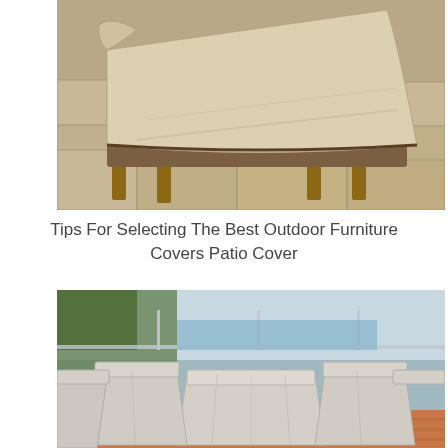[Figure (photo): A beige/tan outdoor furniture cover draped over a chaise lounge chair with wooden legs, placed on stone patio tiles.]
Tips For Selecting The Best Outdoor Furniture Covers Patio Cover
[Figure (photo): Light gray outdoor furniture covers placed over a patio dining set with chairs and a table, on a wooden deck with plants and water visible in the background.]